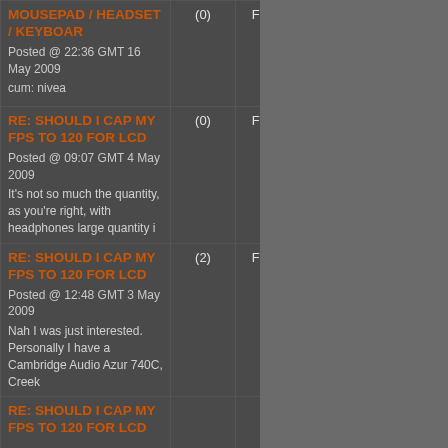| Post Title | Replies | Type |
| --- | --- | --- |
| MOUSEPAD / HEADSET / KEYBOAR
Posted @ 22:36 GMT 16 May 2009
cum: nivea | (0) | Forum |
| RE: SHOULD I CAP MY FPS TO 120 FOR LCD
Posted @ 09:07 GMT 4 May 2009
It's not so much the quantity, as you're right, with headphones large quantity i | (0) | Forum |
| RE: SHOULD I CAP MY FPS TO 120 FOR LCD
Posted @ 12:48 GMT 3 May 2009
Nah I was just interested. Personally I have a Cambridge Audio Azur 740C, Creek | (2) | Forum |
| RE: SHOULD I CAP MY FPS TO 120 FOR LCD
(partial) |  |  |